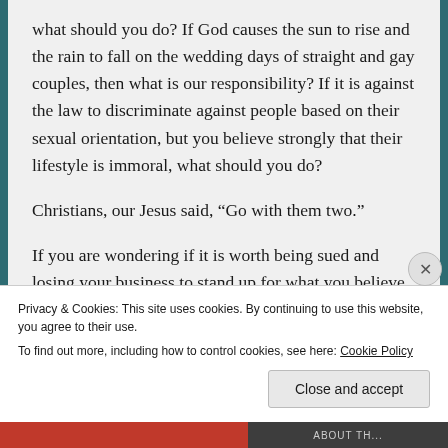what should you do? If God causes the sun to rise and the rain to fall on the wedding days of straight and gay couples, then what is our responsibility? If it is against the law to discriminate against people based on their sexual orientation, but you believe strongly that their lifestyle is immoral, what should you do?
Christians, our Jesus said, “Go with them two.”
If you are wondering if it is worth being sued and losing your business to stand up for what you believe is right, if you miss the look of hurt in the
Privacy & Cookies: This site uses cookies. By continuing to use this website, you agree to their use.
To find out more, including how to control cookies, see here: Cookie Policy
Close and accept